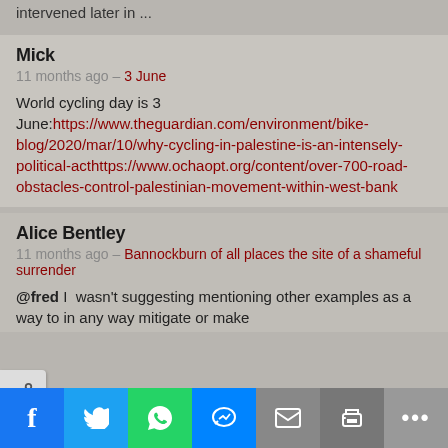intervened later in ...
Mick
11 months ago – 3 June
World cycling day is 3 June:https://www.theguardian.com/environment/bike-blog/2020/mar/10/why-cycling-in-palestine-is-an-intensely-political-acthttps://www.ochaopt.org/content/over-700-road-obstacles-control-palestinian-movement-within-west-bank
Alice Bentley
11 months ago – Bannockburn of all places the site of a shameful surrender
@fred I  wasn't suggesting mentioning other examples as a way to in any way mitigate or make
Share buttons: Facebook, Twitter, WhatsApp, Messenger, Email, Print, More